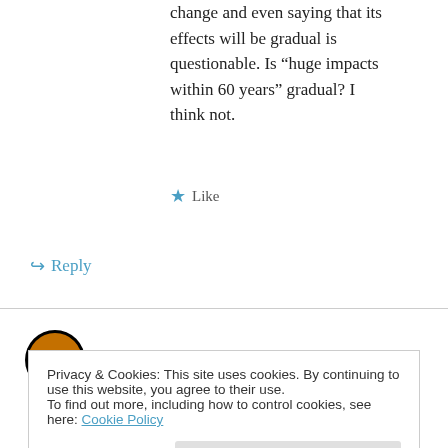change and even saying that its effects will be gradual is questionable. Is “huge impacts within 60 years” gradual? I think not.
★ Like
↪ Reply
Eclipse Now on 28 June 2011 at 8:47 AM
@ Any coal resource expert:
Harrywr2 posted a very interesting link from the
Privacy & Cookies: This site uses cookies. By continuing to use this website, you agree to their use.
To find out more, including how to control cookies, see here: Cookie Policy
Close and accept